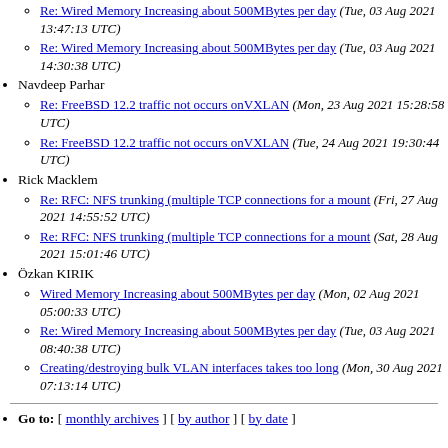Re: Wired Memory Increasing about 500MBytes per day (Tue, 03 Aug 2021 13:47:13 UTC)
Re: Wired Memory Increasing about 500MBytes per day (Tue, 03 Aug 2021 14:30:38 UTC)
Navdeep Parhar
Re: FreeBSD 12.2 traffic not occurs onVXLAN (Mon, 23 Aug 2021 15:28:58 UTC)
Re: FreeBSD 12.2 traffic not occurs onVXLAN (Tue, 24 Aug 2021 19:30:44 UTC)
Rick Macklem
Re: RFC: NFS trunking (multiple TCP connections for a mount (Fri, 27 Aug 2021 14:55:52 UTC)
Re: RFC: NFS trunking (multiple TCP connections for a mount (Sat, 28 Aug 2021 15:01:46 UTC)
Özkan KIRIK
Wired Memory Increasing about 500MBytes per day (Mon, 02 Aug 2021 05:00:33 UTC)
Re: Wired Memory Increasing about 500MBytes per day (Tue, 03 Aug 2021 08:40:38 UTC)
Creating/destroying bulk VLAN interfaces takes too long (Mon, 30 Aug 2021 07:13:14 UTC)
Go to: [ monthly archives ] [ by author ] [ by date ]